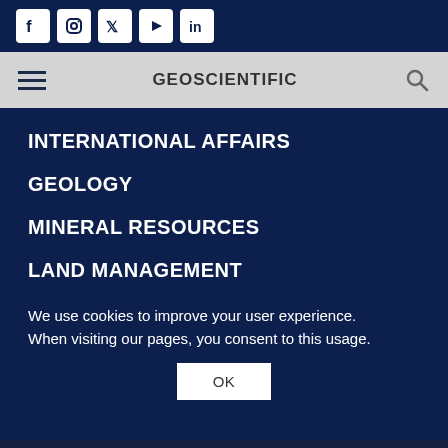[Figure (screenshot): Social media icons (Facebook, Instagram, Twitter, YouTube, LinkedIn) on dark navy background]
GEOSCIENTIFIC
INTERNATIONAL AFFAIRS
GEOLOGY
MINERAL RESOURCES
LAND MANAGEMENT
We use cookies to improve your user experience. When visiting our pages, you consent to this usage.
OK